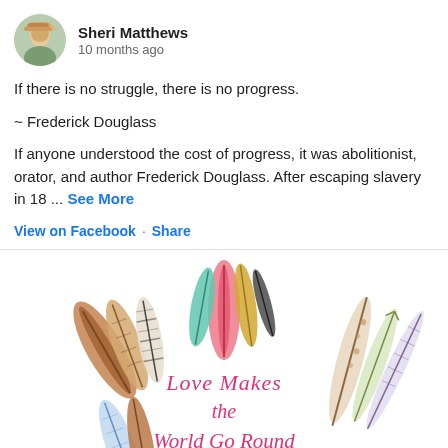Sheri Matthews · 10 months ago
If there is no struggle, there is no progress.
~ Frederick Douglass
If anyone understood the cost of progress, it was abolitionist, orator, and author Frederick Douglass. After escaping slavery in 18 ... See More
View on Facebook · Share
[Figure (illustration): Decorative wreath made of colorful feathers and arrows surrounding the text 'Love Makes the World Go Round' written in pink script]